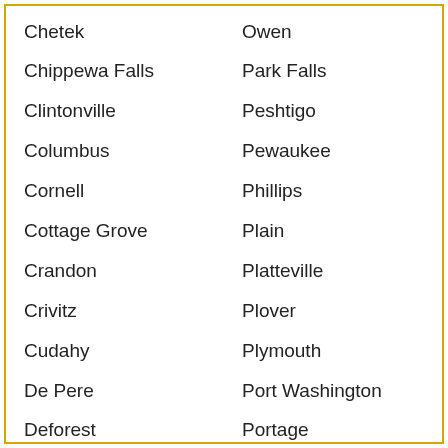Chetek
Owen
Chippewa Falls
Park Falls
Clintonville
Peshtigo
Columbus
Pewaukee
Cornell
Phillips
Cottage Grove
Plain
Crandon
Platteville
Crivitz
Plover
Cudahy
Plymouth
De Pere
Port Washington
Deforest
Portage
Delafield
Prairie Du Chien